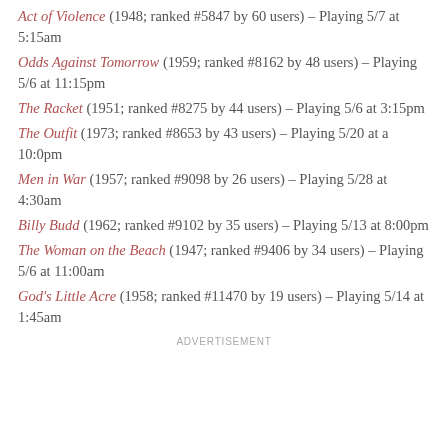Act of Violence (1948; ranked #5847 by 60 users) – Playing 5/7 at 5:15am
Odds Against Tomorrow (1959; ranked #8162 by 48 users) – Playing 5/6 at 11:15pm
The Racket (1951; ranked #8275 by 44 users) – Playing 5/6 at 3:15pm
The Outfit (1973; ranked #8653 by 43 users) – Playing 5/20 at a 10:0pm
Men in War (1957; ranked #9098 by 26 users) – Playing 5/28 at 4:30am
Billy Budd (1962; ranked #9102 by 35 users) – Playing 5/13 at 8:00pm
The Woman on the Beach (1947; ranked #9406 by 34 users) – Playing 5/6 at 11:00am
God's Little Acre (1958; ranked #11470 by 19 users) – Playing 5/14 at 1:45am
ADVERTISEMENT